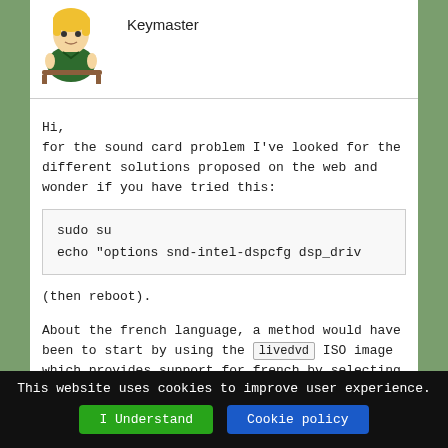[Figure (illustration): Cartoon avatar of a character sitting, with blonde hair, used as forum user avatar]
Keymaster
Hi,
for the sound card problem I've looked for the different solutions proposed on the web and wonder if you have tried this:
sudo su
echo "options snd-intel-dspcfg dsp_driv
(then reboot).
About the french language, a method would have been to start by using the livedvd ISO image which provides support for french by selecting the language at boot.
Instead, switching language on a system installed from livecd requires some manual changes.
This website uses cookies to improve user experience.
I Understand
Cookie policy